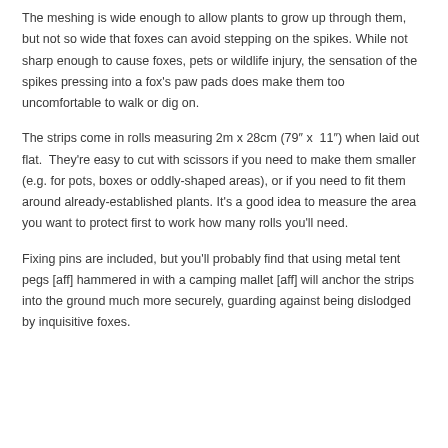The meshing is wide enough to allow plants to grow up through them, but not so wide that foxes can avoid stepping on the spikes. While not sharp enough to cause foxes, pets or wildlife injury, the sensation of the spikes pressing into a fox's paw pads does make them too uncomfortable to walk or dig on.
The strips come in rolls measuring 2m x 28cm (79" x 11") when laid out flat. They're easy to cut with scissors if you need to make them smaller (e.g. for pots, boxes or oddly-shaped areas), or if you need to fit them around already-established plants. It's a good idea to measure the area you want to protect first to work how many rolls you'll need.
Fixing pins are included, but you'll probably find that using metal tent pegs [aff] hammered in with a camping mallet [aff] will anchor the strips into the ground much more securely, guarding against being dislodged by inquisitive foxes.